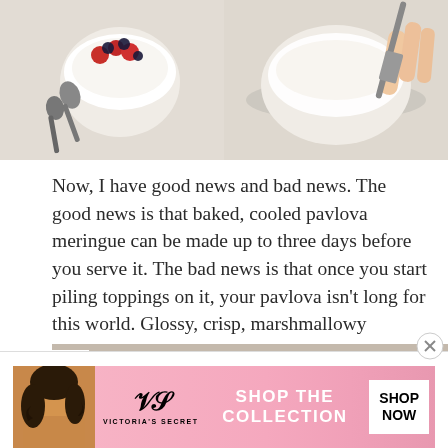[Figure (photo): Two food photos side by side: left shows a bowl of berries with cream and two spoons, right shows a bowl of cream being mixed with a utensil held by a hand]
Now, I have good news and bad news. The good news is that baked, cooled pavlova meringue can be made up to three days before you serve it. The bad news is that once you start piling toppings on it, your pavlova isn’t long for this world. Glossy, crisp, marshmallowy meringue is fleeting, so don’t assemble your pavlova until right before you want to serve it. But then, do it up!
[Figure (photo): Partial photo at bottom of page showing a pavlova dessert]
Advertisements
[Figure (photo): Victoria's Secret advertisement banner: SHOP THE COLLECTION with SHOP NOW button, featuring a model and the Victoria's Secret logo]